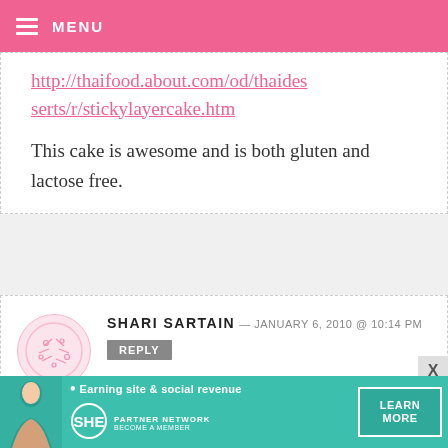MENU
http://thaifood.about.com/od/thaidesserts/r/stickylayercake.htm
This cake is awesome and is both gluten and lactose free.
SHARI SARTAIN — JANUARY 6, 2010 @ 10:14 PM
The Icy Cakes are beautiful! Emelie has created a new art form.
[Figure (infographic): Advertisement banner: SHE Partner Network - Earning site & social revenue, with Learn More button and woman silhouette]